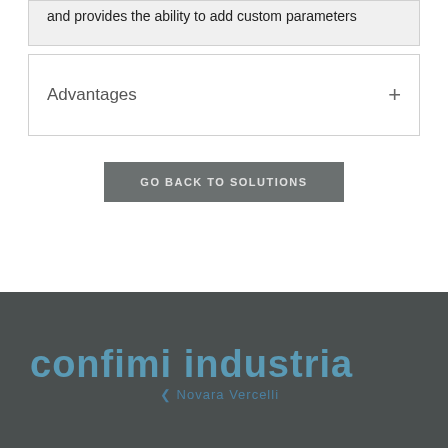and provides the ability to add custom parameters
Advantages
GO BACK TO SOLUTIONS
[Figure (logo): confimi industria logo with subtitle text, white/blue on dark background]